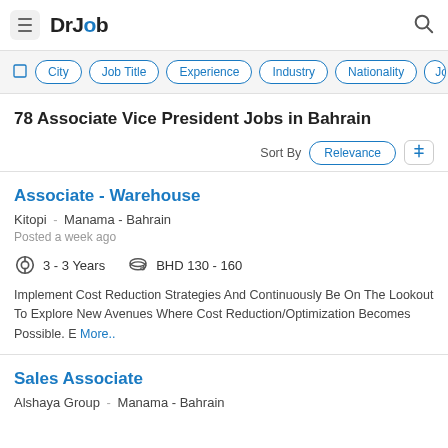DrJob
City | Job Title | Experience | Industry | Nationality | Job Ty...
78 Associate Vice President Jobs in Bahrain
Sort By  Relevance
Associate - Warehouse
Kitopi - Manama - Bahrain
Posted a week ago
3 - 3 Years   BHD 130 - 160
Implement Cost Reduction Strategies And Continuously Be On The Lookout To Explore New Avenues Where Cost Reduction/Optimization Becomes Possible. E More..
Sales Associate
Alshaya Group - Manama - Bahrain